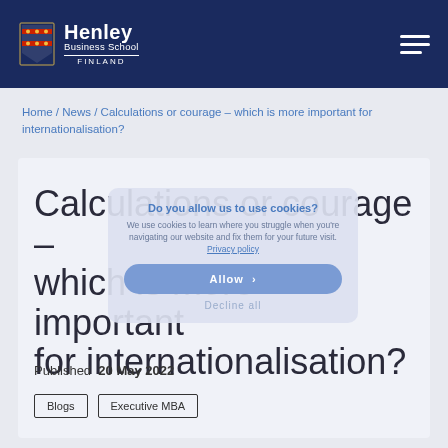Henley Business School Finland
Home / News / Calculations or courage – which is more important for internationalisation?
Calculations or courage – which is more important for internationalisation?
Do you allow us to use cookies? We use cookies to learn where you struggle when you're navigating our website and fix them for your future visit. Privacy policy Allow Decline all
Published  20 May 2022
Blogs
Executive MBA